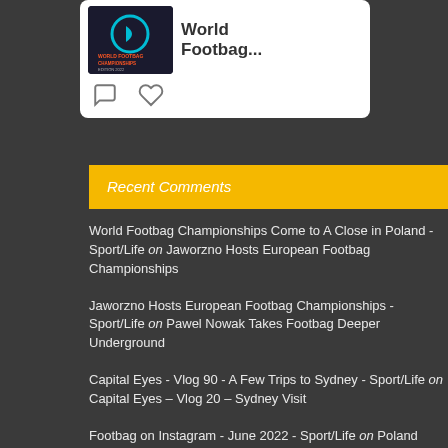[Figure (screenshot): Social media card with World Footbag Championships logo image and comment/like icons below]
Recent Comments
World Footbag Championships Come to A Close in Poland - Sport/Life on Jaworzno Hosts European Footbag Championships
Jaworzno Hosts European Footbag Championships - Sport/Life on Pawel Nowak Takes Footbag Deeper Underground
Capital Eyes - Vlog 90 - A Few Trips to Sydney - Sport/Life on Capital Eyes – Vlog 20 – Sydney Visit
Footbag on Instagram - June 2022 - Sport/Life on Poland Prepares for World Footbag Championships
Footbag Player Profile - Nick Landes - Sport/Life on Nick Landes Takes the Lead in Fearless Challenge